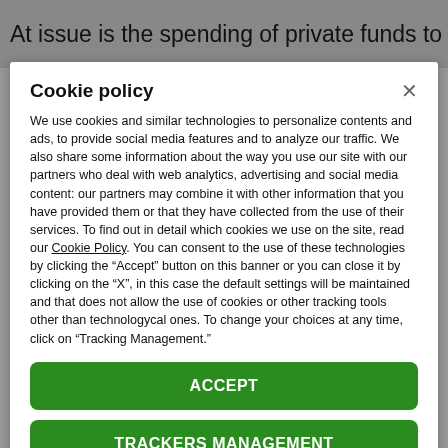At issue is the spending of private funds to remove
Cookie policy
We use cookies and similar technologies to personalize contents and ads, to provide social media features and to analyze our traffic. We also share some information about the way you use our site with our partners who deal with web analytics, advertising and social media content: our partners may combine it with other information that you have provided them or that they have collected from the use of their services. To find out in detail which cookies we use on the site, read our Cookie Policy. You can consent to the use of these technologies by clicking the "Accept" button on this banner or you can close it by clicking on the "X", in this case the default settings will be maintained and that does not allow the use of cookies or other tracking tools other than technologycal ones. To change your choices at any time, click on “Tracking Management.”
ACCEPT
TRACKERS MANAGEMENT
Show vendors | Show purposes